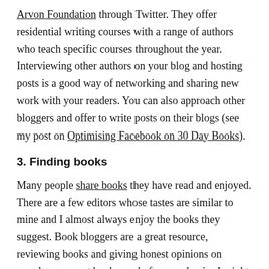Arvon Foundation through Twitter. They offer residential writing courses with a range of authors who teach specific courses throughout the year. Interviewing other authors on your blog and hosting posts is a good way of networking and sharing new work with your readers. You can also approach other bloggers and offer to write posts on their blogs (see my post on Optimising Facebook on 30 Day Books).
3. Finding books
Many people share books they have read and enjoyed. There are a few editors whose tastes are similar to mine and I almost always enjoy the books they suggest. Book bloggers are a great resource, reviewing books and giving honest opinions on popular or recent books, and often on classics I might have missed. I also review books as well as hosting interviews and posting about writing.